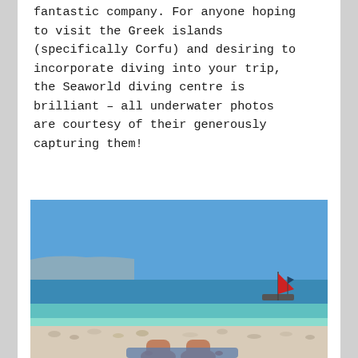fantastic company. For anyone hoping to visit the Greek islands (specifically Corfu) and desiring to incorporate diving into your trip, the Seaworld diving centre is brilliant – all underwater photos are courtesy of their generously capturing them!
[Figure (photo): Beach scene viewed from a reclining position on a pebbly shore. Clear shallow turquoise and blue water stretches to a calm sea, under a bright blue sky. A small sailboat with a red sail is visible in the mid-distance on the right side. Person's bare feet visible in the foreground.]